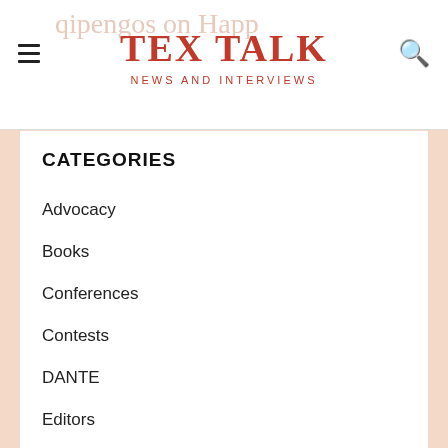TEX TALK NEWS AND INTERVIEWS
CATEGORIES
Advocacy
Books
Conferences
Contests
DANTE
Editors
Fonts